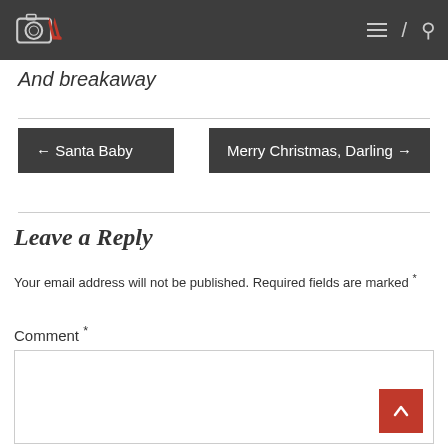And breakaway
← Santa Baby
Merry Christmas, Darling →
Leave a Reply
Your email address will not be published. Required fields are marked *
Comment *